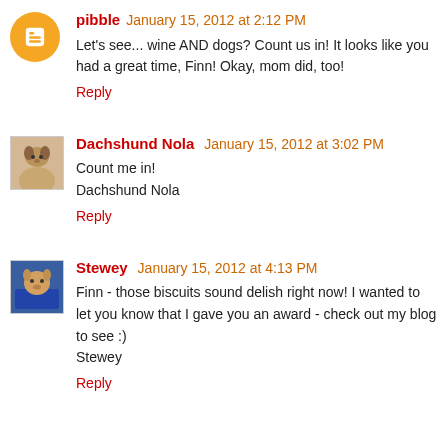pibble January 15, 2012 at 2:12 PM
Let's see... wine AND dogs? Count us in! It looks like you had a great time, Finn! Okay, mom did, too!
Reply
Dachshund Nola January 15, 2012 at 3:02 PM
Count me in!
Dachshund Nola
Reply
Stewey January 15, 2012 at 4:13 PM
Finn - those biscuits sound delish right now! I wanted to let you know that I gave you an award - check out my blog to see :)
Stewey
Reply